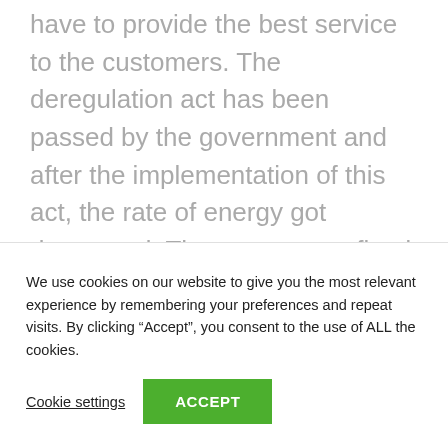have to provide the best service to the customers. The deregulation act has been passed by the government and after the implementation of this act, the rate of energy got decreased. The energy rate fixed will be affordable to all people and this is the main reason for the company to get famous. The rate of energy will be fixed by seeing the amount of energy used in the place. The energy delivering companies will be located in every region of the country and this company will have many energy providers who will be responsible
We use cookies on our website to give you the most relevant experience by remembering your preferences and repeat visits. By clicking “Accept”, you consent to the use of ALL the cookies.
Cookie settings
ACCEPT